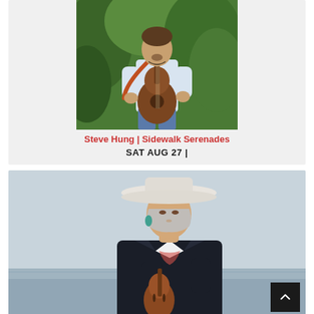[Figure (photo): Man holding an acoustic guitar outdoors with green foliage in background]
Steve Hung | Sidewalk Serenades
SAT AUG 27 |
[Figure (photo): Woman wearing a white cowboy hat and dark blazer, holding a violin/fiddle, outdoors near water]